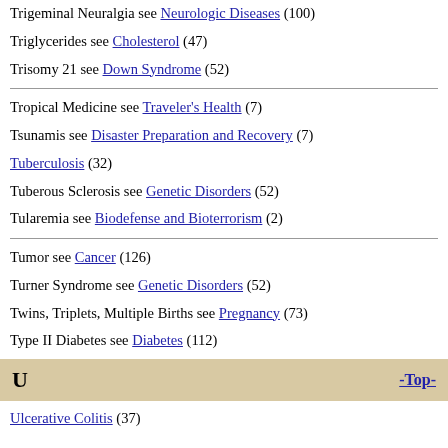Trigeminal Neuralgia see Neurologic Diseases (100)
Triglycerides see Cholesterol (47)
Trisomy 21 see Down Syndrome (52)
Tropical Medicine see Traveler's Health (7)
Tsunamis see Disaster Preparation and Recovery (7)
Tuberculosis (32)
Tuberous Sclerosis see Genetic Disorders (52)
Tularemia see Biodefense and Bioterrorism (2)
Tumor see Cancer (126)
Turner Syndrome see Genetic Disorders (52)
Twins, Triplets, Multiple Births see Pregnancy (73)
Type II Diabetes see Diabetes (112)
U
Ulcerative Colitis (37)